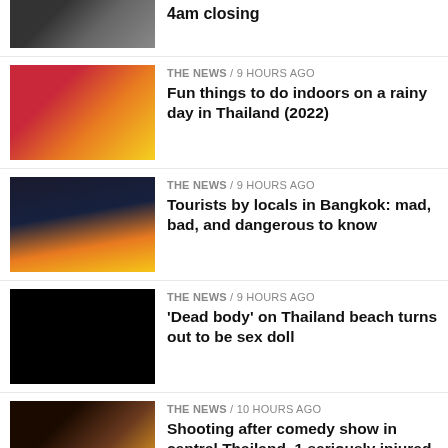[Figure (photo): Crowd of people, partial view, top of page]
4am closing
[Figure (photo): Colorful night market scene, Thailand]
THE NEWS / 9 hours ago
Fun things to do indoors on a rainy day in Thailand (2022)
[Figure (photo): Bangkok city skyline at night]
THE NEWS / 9 hours ago
Tourists by locals in Bangkok: mad, bad, and dangerous to know
[Figure (photo): Solid black image]
THE NEWS / 9 hours ago
'Dead body' on Thailand beach turns out to be sex doll
[Figure (photo): Bar or club interior scene]
THE NEWS / 10 hours ago
Shooting after comedy show in central Thailand, 1 seriously injured
[Figure (photo): People in a meeting room]
THE NEWS / 10 hours ago
UPDATE: Woman who allegedly abused a soldier is a police officer
[Figure (photo): Outdoor landscape with clouds]
THE NEWS / 11 hours ago
Police shoot and kill major drug trafficker in